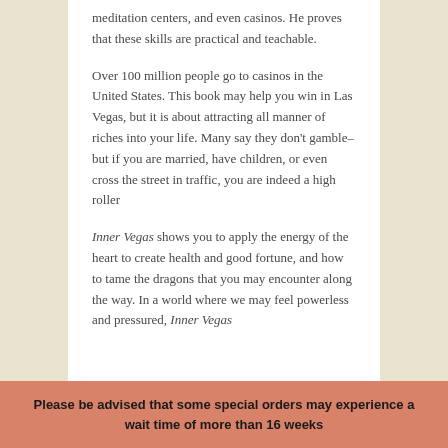meditation centers, and even casinos. He proves that these skills are practical and teachable.
Over 100 million people go to casinos in the United States. This book may help you win in Las Vegas, but it is about attracting all manner of riches into your life. Many say they don't gamble– but if you are married, have children, or even cross the street in traffic, you are indeed a high roller
Inner Vegas shows you to apply the energy of the heart to create health and good fortune, and how to tame the dragons that you may encounter along the way. In a world where we may feel powerless and pressured, Inner Vegas
Please be advised that some special orders may experience a wait time of more than 16 weeks